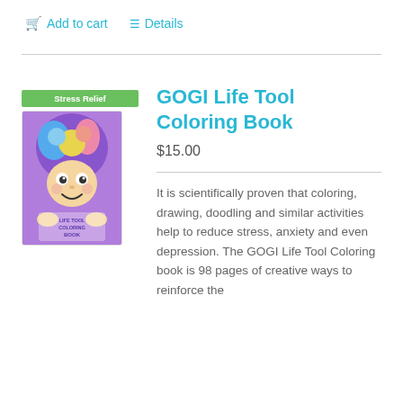Add to cart   Details
[Figure (illustration): GOGI Life Tool Coloring Book cover with cartoon character with colorful hair]
GOGI Life Tool Coloring Book
$15.00
It is scientifically proven that coloring, drawing, doodling and similar activities help to reduce stress, anxiety and even depression. The GOGI Life Tool Coloring book is 98 pages of creative ways to reinforce the